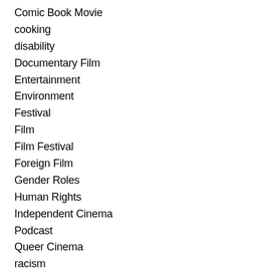Comic Book Movie
cooking
disability
Documentary Film
Entertainment
Environment
Festival
Film
Film Festival
Foreign Film
Gender Roles
Human Rights
Independent Cinema
Podcast
Queer Cinema
racism
rascism
SciFi